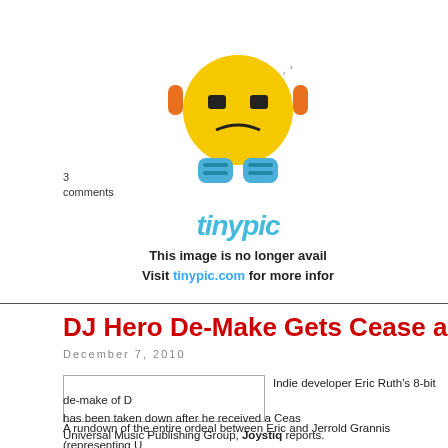[Figure (illustration): Tinypic placeholder image with cartoon robot character and tinypic logo, with text 'This image is no longer avail' and 'Visit tinypic.com for more infor']
3
comments
DJ Hero De-Make Gets Cease and De
December 7, 2010
[Figure (photo): Empty placeholder image box]
Indie developer Eric Ruth's 8-bit de-make of D has been taken down after he received a Ceas Universal Music Publishing Group, Joystiq reports.
A rundown of the entire ordeal between Eric and Jerrold Grannis (representing U unfolds for your pleasure at PikiGeek, but here is the best exchange. First, here